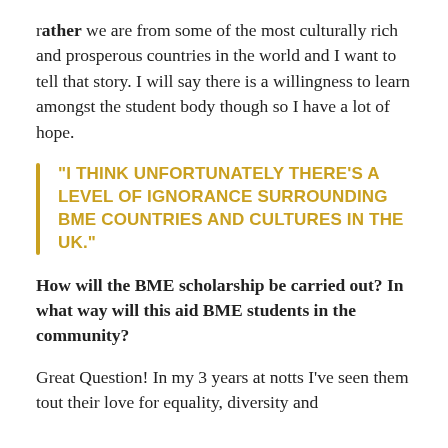rather we are from some of the most culturally rich and prosperous countries in the world and I want to tell that story. I will say there is a willingness to learn amongst the student body though so I have a lot of hope.
“I THINK UNFORTUNATELY THERE’S A LEVEL OF IGNORANCE SURROUNDING BME COUNTRIES AND CULTURES IN THE UK.”
How will the BME scholarship be carried out? In what way will this aid BME students in the community?
Great Question! In my 3 years at notts I’ve seen them tout their love for equality, diversity and